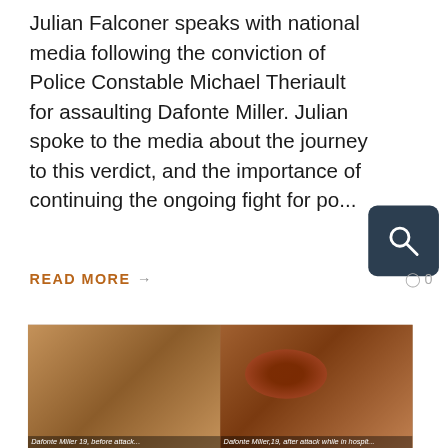Julian Falconer speaks with national media following the conviction of Police Constable Michael Theriault for assaulting Dafonte Miller. Julian spoke to the media about the journey to this verdict, and the importance of continuing the ongoing fight for po...
READ MORE → 0
[Figure (photo): Two side-by-side photos of Dafonte Miller: left photo shows Dafonte Miller, 19, before the attack; right photo shows Dafonte Miller, 19, after the attack while in hospital with severe facial injury. Below is a photo of a man wearing a dark winter hat with a badge/logo.]